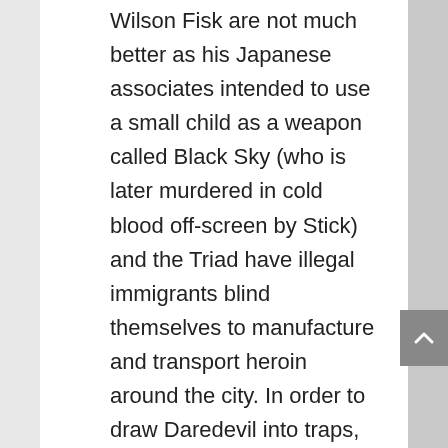Wilson Fisk are not much better as his Japanese associates intended to use a small child as a weapon called Black Sky (who is later murdered in cold blood off-screen by Stick) and the Triad have illegal immigrants blind themselves to manufacture and transport heroin around the city. In order to draw Daredevil into traps, the Russians would kidnap a boy and the Japanese murder a kindly, elderly woman who sought the legal services of Nelson & Murdock earlier (when Fisk appears to be faltering in his responsibilities, his allies attempt to secretly assassinate the woman he loves in order to refocus him). When Matt Murdock goes into what drove him to adopt a mask, he reveals a father molested his daughter which